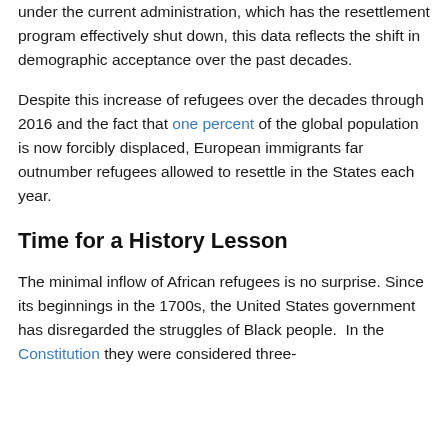under the current administration, which has the resettlement program effectively shut down, this data reflects the shift in demographic acceptance over the past decades.
Despite this increase of refugees over the decades through 2016 and the fact that one percent of the global population is now forcibly displaced, European immigrants far outnumber refugees allowed to resettle in the States each year.
Time for a History Lesson
The minimal inflow of African refugees is no surprise. Since its beginnings in the 1700s, the United States government has disregarded the struggles of Black people.  In the Constitution they were considered three-